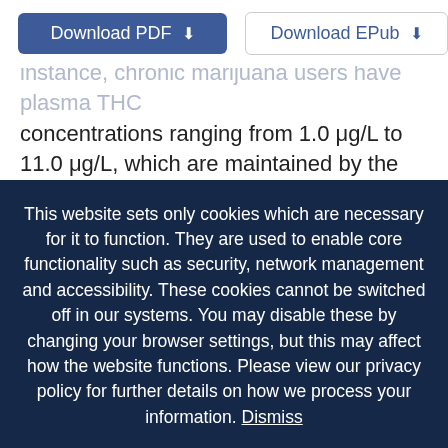[Figure (screenshot): Download PDF and Download EPub buttons in a browser UI]
instance, chronic marijuana users have plasma THC concentrations ranging from 1.0 μg/L to 11.0 μg/L, which are maintained by the continual passage of THC from the tissues into the bloodstream (Wolff and Johnston [2014]). Therefore, habitual users who test positive for THC may not necessarily be impaired at the time of testing (Bedard
This website sets only cookies which are necessary for it to function. They are used to enable core functionality such as security, network management and accessibility. These cookies cannot be switched off in our systems. You may disable these by changing your browser settings, but this may affect how the website functions. Please view our privacy policy for further details on how we process your information. Dismiss